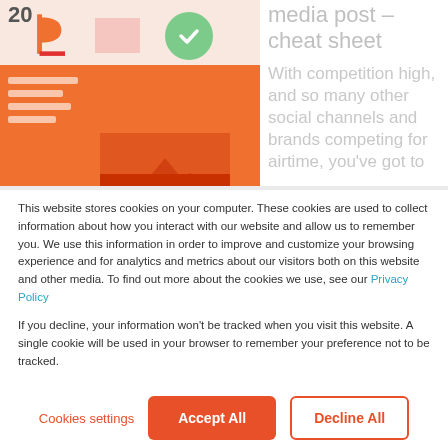[Figure (screenshot): Website screenshot showing a social media post article page with an orange branded image on the left and partially visible article title and text on the right. The left image shows a stylized 'b' logo, decorative elements, and an orange illustrated area with mountains and social media icons. The right side shows a faded article title and introductory text about social media competition.]
This website stores cookies on your computer. These cookies are used to collect information about how you interact with our website and allow us to remember you. We use this information in order to improve and customize your browsing experience and for analytics and metrics about our visitors both on this website and other media. To find out more about the cookies we use, see our Privacy Policy
If you decline, your information won't be tracked when you visit this website. A single cookie will be used in your browser to remember your preference not to be tracked.
Cookies settings
Accept All
Decline All